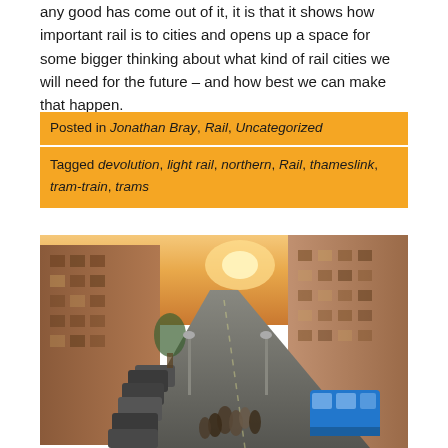any good has come out of it, it is that it shows how important rail is to cities and opens up a space for some bigger thinking about what kind of rail cities we will need for the future – and how best we can make that happen.
Posted in Jonathan Bray, Rail, Uncategorized
Tagged devolution, light rail, northern, Rail, thameslink, tram-train, trams
[Figure (photo): Aerial view of a city street with cars parked on the left, a blue bus on the right, pedestrians walking, and brick buildings on both sides receding into the distance with sunlight in the background.]